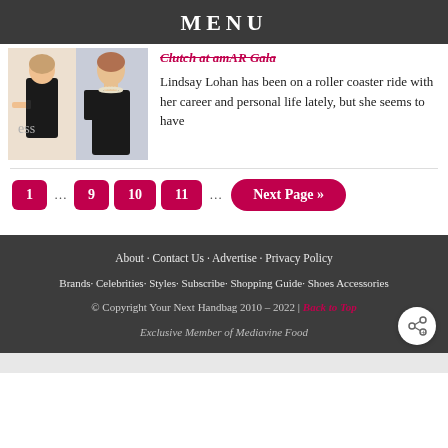MENU
[Figure (photo): Two women in black dresses at a gala event]
Clutch at amAR Gala
Lindsay Lohan has been on a roller coaster ride with her career and personal life lately, but she seems to have
1
9
10
11
Next Page »
About · Contact Us · Advertise · Privacy Policy
Brands· Celebrities· Styles· Subscribe· Shopping Guide· Shoes Accessories
© Copyright Your Next Handbag 2010 – 2022 | Back to Top
Exclusive Member of Mediavine Food